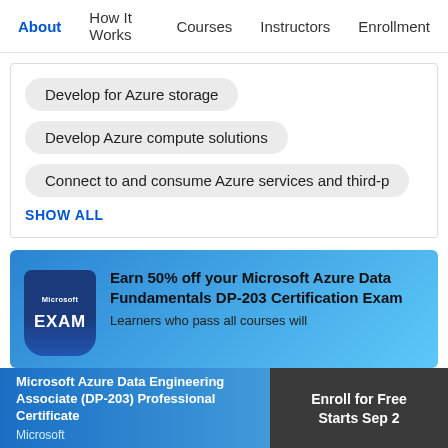About  How It Works  Courses  Instructors  Enrollment
Develop for Azure storage
Develop Azure compute solutions
Connect to and consume Azure services and third-p
SHOW ALL
[Figure (other): Microsoft EXAM badge icon in dark blue]
Earn 50% off your Microsoft Azure Data Fundamentals DP-203 Certification Exam
Learners who pass all courses will
Microsoft Azure Data Engineering Associate (DP-203) Professional Certificate
Microsoft
Enroll for Free
Starts Sep 2